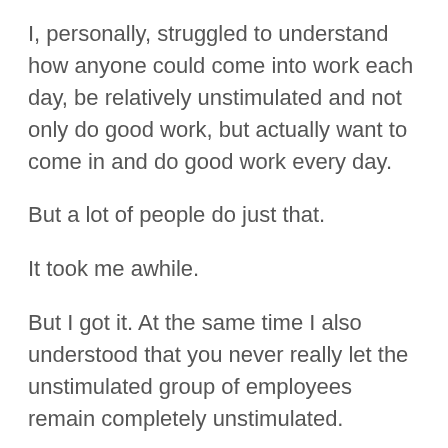I, personally, struggled to understand how anyone could come into work each day, be relatively unstimulated and not only do good work, but actually want to come in and do good work every day.
But a lot of people do just that.
It took me awhile.
But I got it. At the same time I also understood that you never really let the unstimulated group of employees remain completely unstimulated.